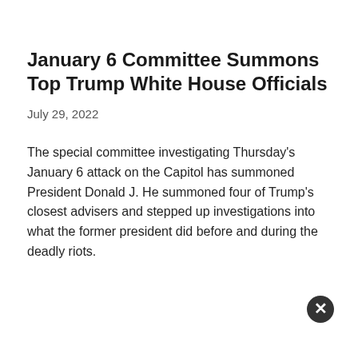January 6 Committee Summons Top Trump White House Officials
July 29, 2022
The special committee investigating Thursday's January 6 attack on the Capitol has summoned President Donald J. He summoned four of Trump's closest advisers and stepped up investigations into what the former president did before and during the deadly riots.